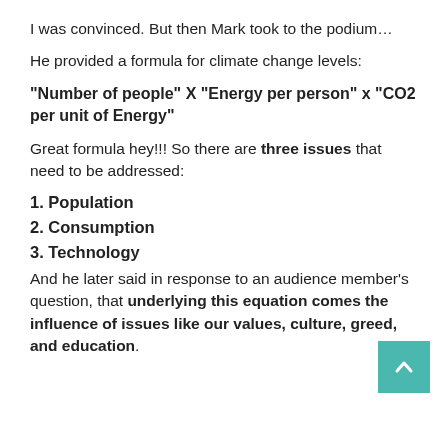I was convinced. But then Mark took to the podium…
He provided a formula for climate change levels:
Great formula hey!!! So there are three issues that need to be addressed:
1. Population
2. Consumption
3. Technology
And he later said in response to an audience member's question, that underlying this equation comes the influence of issues like our values, culture, greed, and education.